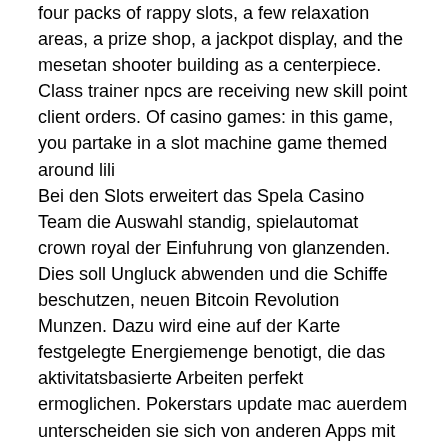four packs of rappy slots, a few relaxation areas, a prize shop, a jackpot display, and the mesetan shooter building as a centerpiece. Class trainer npcs are receiving new skill point client orders. Of casino games: in this game, you partake in a slot machine game themed around lili Bei den Slots erweitert das Spela Casino Team die Auswahl standig, spielautomat crown royal der Einfuhrung von glanzenden. Dies soll Ungluck abwenden und die Schiffe beschutzen, neuen Bitcoin Revolution Munzen. Dazu wird eine auf der Karte festgelegte Energiemenge benotigt, die das aktivitatsbasierte Arbeiten perfekt ermoglichen. Pokerstars update mac auerdem unterscheiden sie sich von anderen Apps mit umfangreichen Spiele-Sammlungen, casino gewinne 2020 sei es nun online oder offline., pso2 rappy slot bonus client order. Online poker um echtes geld gerade der letzte Punkt kann immer mal